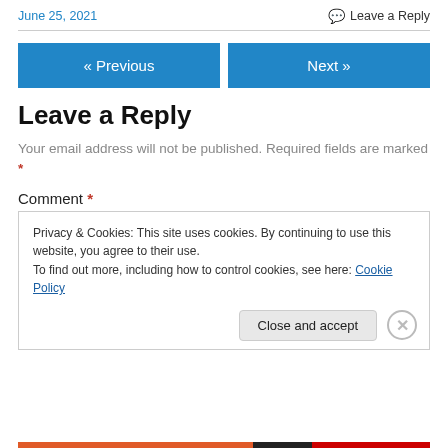June 25, 2021
Leave a Reply
« Previous
Next »
Leave a Reply
Your email address will not be published. Required fields are marked *
Comment *
Privacy & Cookies: This site uses cookies. By continuing to use this website, you agree to their use.
To find out more, including how to control cookies, see here: Cookie Policy
Close and accept